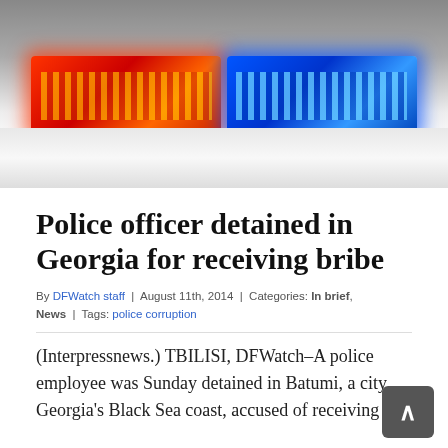[Figure (photo): Police car with red and blue emergency lights lit up on the light bar, photographed from close range showing the roof of the vehicle]
Police officer detained in Georgia for receiving bribe
By DFWatch staff | August 11th, 2014 | Categories: In brief, News | Tags: police corruption
(Interpressnews.) TBILISI, DFWatch–A police employee was Sunday detained in Batumi, a city Georgia's Black Sea coast, accused of receiving a